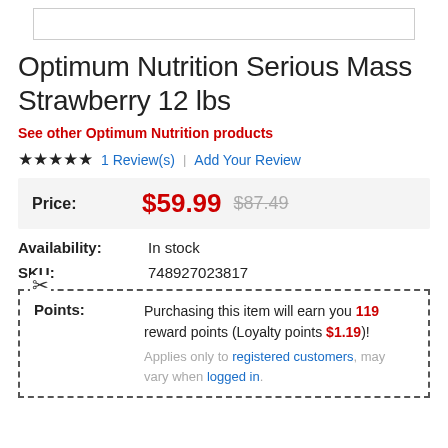[Figure (other): Product image placeholder (white box with border)]
Optimum Nutrition Serious Mass Strawberry 12 lbs
See other Optimum Nutrition products
★★★★★  1 Review(s)  |  Add Your Review
| Price: | $59.99 | $87.49 |
| --- | --- | --- |
Availability:  In stock
SKU:  748927023817
Points:  Purchasing this item will earn you 119 reward points (Loyalty points $1.19)!  Applies only to registered customers, may vary when logged in.